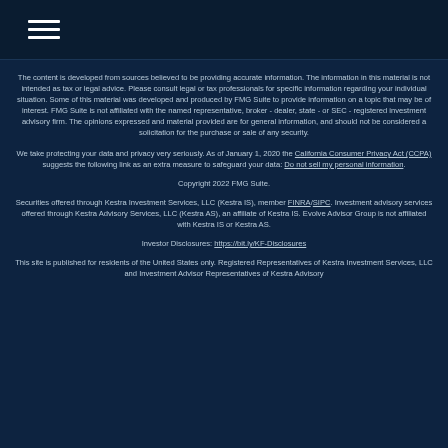[hamburger menu icon]
The content is developed from sources believed to be providing accurate information. The information in this material is not intended as tax or legal advice. Please consult legal or tax professionals for specific information regarding your individual situation. Some of this material was developed and produced by FMG Suite to provide information on a topic that may be of interest. FMG Suite is not affiliated with the named representative, broker - dealer, state - or SEC - registered investment advisory firm. The opinions expressed and material provided are for general information, and should not be considered a solicitation for the purchase or sale of any security.
We take protecting your data and privacy very seriously. As of January 1, 2020 the California Consumer Privacy Act (CCPA) suggests the following link as an extra measure to safeguard your data: Do not sell my personal information.
Copyright 2022 FMG Suite.
Securities offered through Kestra Investment Services, LLC (Kestra IS), member FINRA/SIPC. Investment advisory services offered through Kestra Advisory Services, LLC (Kestra AS), an affiliate of Kestra IS. Evolve Advisor Group is not affiliated with Kestra IS or Kestra AS.
Investor Disclosures: https://bit.ly/KF-Disclosures
This site is published for residents of the United States only. Registered Representatives of Kestra Investment Services, LLC and Investment Advisor Representatives of Kestra Advisory